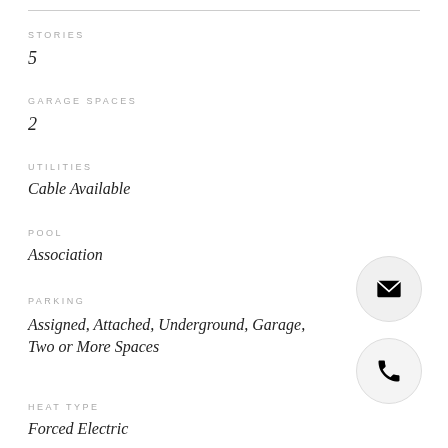STORIES
5
GARAGE SPACES
2
UTILITIES
Cable Available
POOL
Association
PARKING
Assigned, Attached, Underground, Garage, Two or More Spaces
HEAT TYPE